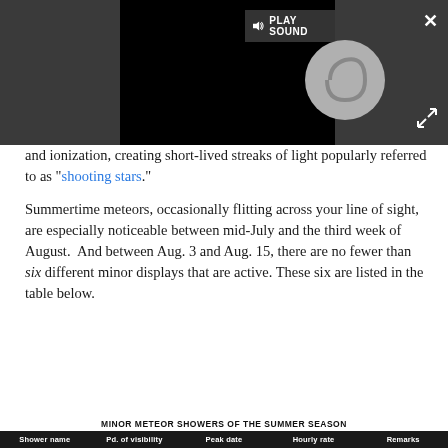[Figure (screenshot): Video player with dark background showing a loading spinner circle and a PLAY SOUND button. Close (X) button top-right, expand button bottom-right.]
and ionization, creating short-lived streaks of light popularly referred to as "shooting stars."
Summertime meteors, occasionally flitting across your line of sight, are especially noticeable between mid-July and the third week of August.  And between Aug. 3 and Aug. 15, there are no fewer than six different minor displays that are active. These six are listed in the table below.
MINOR METEOR SHOWERS OF THE SUMMER SEASON
| Shower name | Pd. of visibility | Peak date | Hourly rate | Remarks |
| --- | --- | --- | --- | --- |